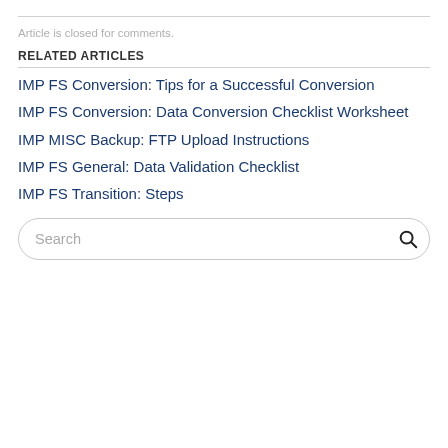Article is closed for comments.
RELATED ARTICLES
IMP FS Conversion: Tips for a Successful Conversion
IMP FS Conversion: Data Conversion Checklist Worksheet
IMP MISC Backup: FTP Upload Instructions
IMP FS General: Data Validation Checklist
IMP FS Transition: Steps